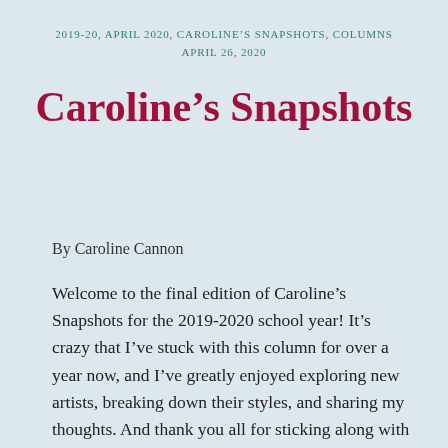2019-20, APRIL 2020, CAROLINE'S SNAPSHOTS, COLUMNS
APRIL 26, 2020
Caroline's Snapshots
By Caroline Cannon
Welcome to the final edition of Caroline's Snapshots for the 2019-2020 school year! It's crazy that I've stuck with this column for over a year now, and I've greatly enjoyed exploring new artists, breaking down their styles, and sharing my thoughts. And thank you all for sticking along with